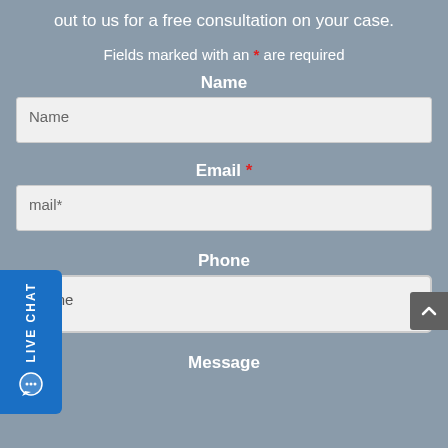out to us for a free consultation on your case.
Fields marked with an * are required
Name
Name
Email *
mail*
Phone
Phone
Message